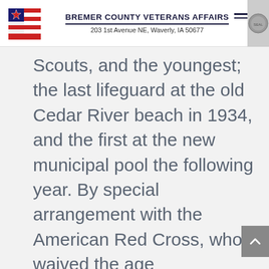BREMER COUNTY VETERANS AFFAIRS 203 1st Avenue NE, Waverly, IA 50677
Scouts, and the youngest; the last lifeguard at the old Cedar River beach in 1934, and the first at the new municipal pool the following year. By special arrangement with the American Red Cross, who waived the age